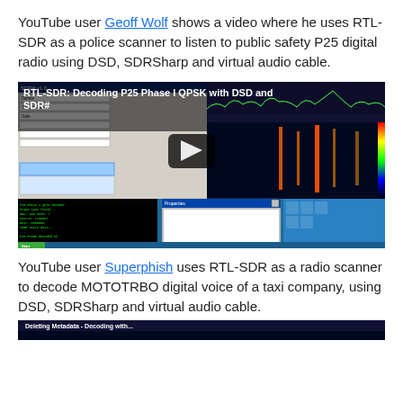YouTube user Geoff Wolf shows a video where he uses RTL-SDR as a police scanner to listen to public safety P25 digital radio using DSD, SDRSharp and virtual audio cable.
[Figure (screenshot): Embedded YouTube video thumbnail showing RTL-SDR: Decoding P25 Phase I QPSK with DSD and SDR# with a play button overlay. The screenshot shows an SDR# spectrum analyzer with QPSK signals and DSD terminal output below.]
YouTube user Superphish uses RTL-SDR as a radio scanner to decode MOTOTRBO digital voice of a taxi company, using DSD, SDRSharp and virtual audio cable.
[Figure (screenshot): Partially visible YouTube video thumbnail for a second video showing RTL-SDR decoding at the bottom of the page.]